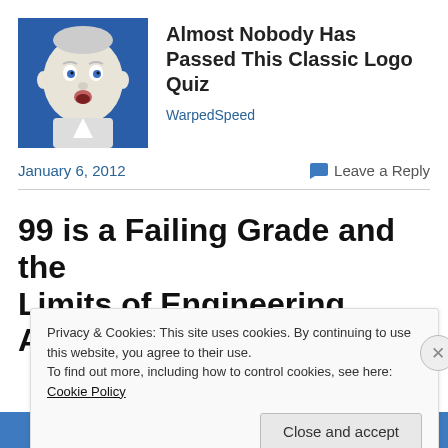[Figure (illustration): Baby face illustration on a blue background, classic Gerber-style baby image]
Almost Nobody Has Passed This Classic Logo Quiz
WarpedSpeed
January 6, 2012
💬 Leave a Reply
99 is a Failing Grade and the Limits of Engineering Authority
Privacy & Cookies: This site uses cookies. By continuing to use this website, you agree to their use.
To find out more, including how to control cookies, see here: Cookie Policy
Close and accept
Follow